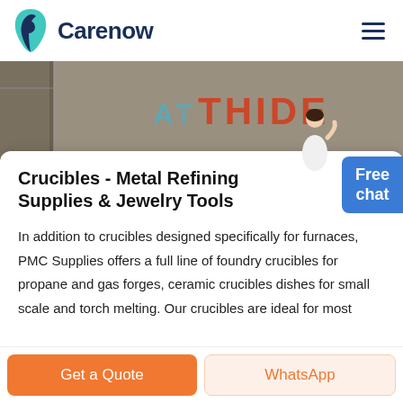[Figure (logo): Carenow logo with teal leaf/tooth icon and dark blue text]
[Figure (photo): Banner photo showing a building wall with graffiti/sign reading 'THIDE' in orange/red letters on a concrete background]
Crucibles - Metal Refining Supplies & Jewelry Tools
In addition to crucibles designed specifically for furnaces, PMC Supplies offers a full line of foundry crucibles for propane and gas forges, ceramic crucibles dishes for small scale and torch melting. Our crucibles are ideal for most
[Figure (infographic): Blue rounded rectangle button with white text 'Free chat']
Get a Quote
WhatsApp